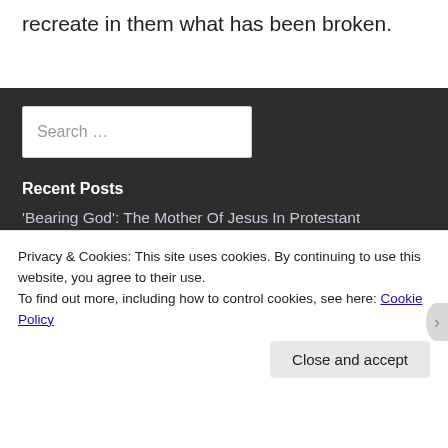recreate in them what has been broken.
Recent Posts
'Bearing God': The Mother Of Jesus In Protestant Theology
Privacy & Cookies: This site uses cookies. By continuing to use this website, you agree to their use.
To find out more, including how to control cookies, see here: Cookie Policy
Close and accept